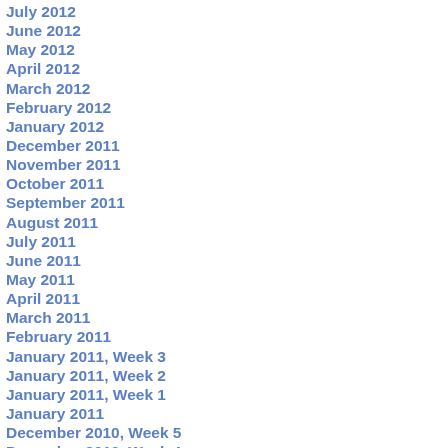July 2012
June 2012
May 2012
April 2012
March 2012
February 2012
January 2012
December 2011
November 2011
October 2011
September 2011
August 2011
July 2011
June 2011
May 2011
April 2011
March 2011
February 2011
January 2011, Week 3
January 2011, Week 2
January 2011, Week 1
January 2011
December 2010, Week 5
December 2010, Week 4
December 2010, Week 3
December 2010, Week 2
December 2010, Week 1
November 2010, Week 5
November 2010, Week 4
November 2010, Week 3